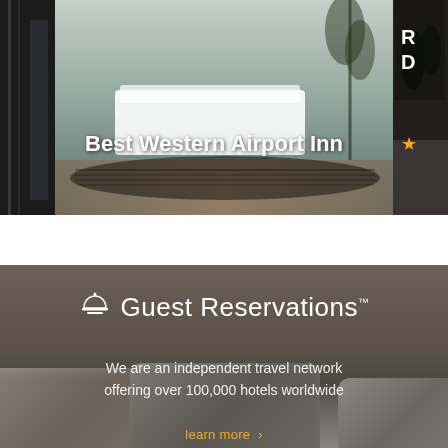[Figure (photo): Hotel room interior image — left partial card (dark background), center card showing Best Western Airport Inn room with white furniture and decorative rug, right partial card (dark, with R and D text visible, star rating)]
Best Western Airport Inn
[Figure (logo): Guest Reservations logo — bell/concierge icon followed by 'Guest Reservations™' in white on dark background]
We are an independent travel network offering over 100,000 hotels worldwide
learn more >